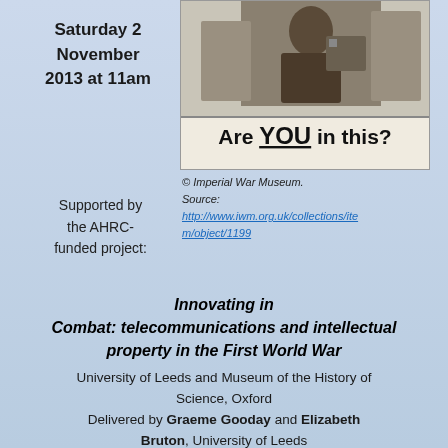[Figure (illustration): WWI recruitment poster showing a figure at work with text 'Are YOU in this?' from the Imperial War Museum collection.]
Saturday 2 November 2013 at 11am
© Imperial War Museum. Source: http://www.iwm.org.uk/collections/item/object/1199
Supported by the AHRC-funded project:
Innovating in Combat: telecommunications and intellectual property in the First World War
University of Leeds and Museum of the History of Science, Oxford
Delivered by Graeme Gooday and Elizabeth Bruton, University of Leeds